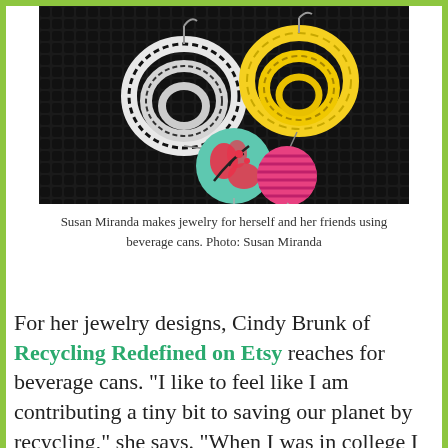[Figure (photo): Photo of handmade earrings made from beverage cans — colorful stacked ring earrings and a floral round earring in teal, pink, yellow, black and white, hanging on dark metal mesh.]
Susan Miranda makes jewelry for herself and her friends using beverage cans. Photo: Susan Miranda
For her jewelry designs, Cindy Brunk of Recycling Redefined on Etsy reaches for beverage cans. “I like to feel like I am contributing a tiny bit to saving our planet by recycling,” she says. “When I was in college I worked